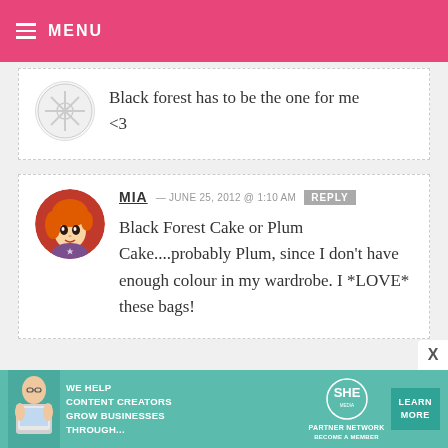MENU
Black forest has to be the one for me <3
MIA — JUNE 25, 2012 @ 1:10 AM REPLY
Black Forest Cake or Plum Cake....probably Plum, since I don't have enough colour in my wardrobe. I *LOVE* these bags!
WE HELP CONTENT CREATORS GROW BUSINESSES THROUGH... SHE PARTNER NETWORK BECOME A MEMBER LEARN MORE